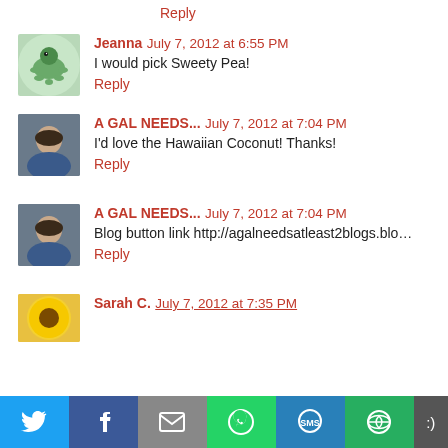Reply
Jeanna  July 7, 2012 at 6:55 PM
I would pick Sweety Pea!
Reply
A GAL NEEDS...  July 7, 2012 at 7:04 PM
I'd love the Hawaiian Coconut! Thanks!
Reply
A GAL NEEDS...  July 7, 2012 at 7:04 PM
Blog button link http://agalneedsatleast2blogs.blo…
Reply
Sarah C.  July 7, 2012 at 7:35 PM
[Figure (other): Social share bar with Twitter, Facebook, Email, WhatsApp, SMS, and other share buttons]